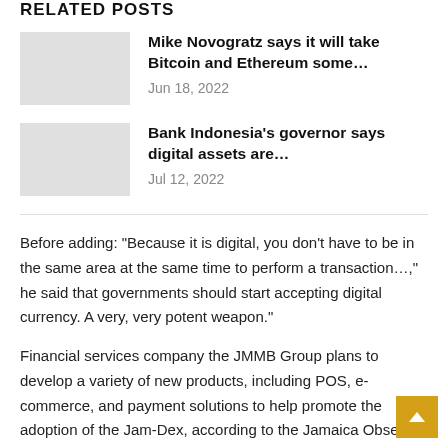RELATED POSTS
Mike Novogratz says it will take Bitcoin and Ethereum some… Jun 18, 2022
Bank Indonesia's governor says digital assets are… Jul 12, 2022
Before adding: “Because it is digital, you don’t have to be in the same area at the same time to perform a transaction…,” he said that governments should start accepting digital currency. A very, very potent weapon.”
Financial services company the JMMB Group plans to develop a variety of new products, including POS, e-commerce, and payment solutions to help promote the adoption of the Jam-Dex, according to the Jamaica Observer. National Commercial Bank (NCB) is also pushing the CBDC via its Lynk wallet, according to the